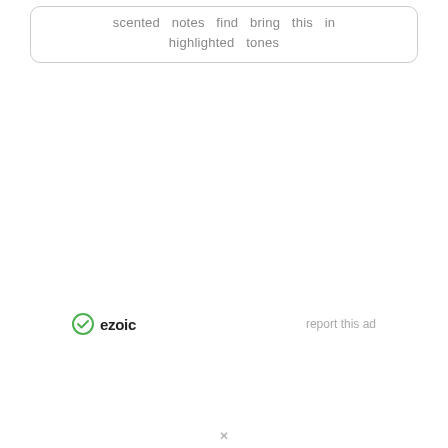scented notes find bring this in highlighted tones
[Figure (logo): Ezoic logo with green circular checkmark icon and bold 'ezoic' text]
report this ad